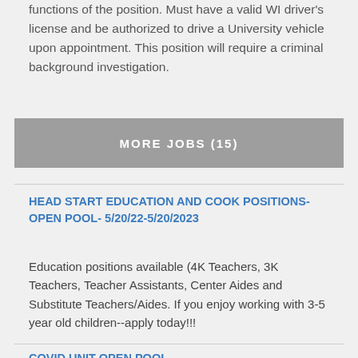functions of the position. Must have a valid WI driver's license and be authorized to drive a University vehicle upon appointment. This position will require a criminal background investigation.
MORE JOBS (15)
HEAD START EDUCATION AND COOK POSITIONS- OPEN POOL- 5/20/22-5/20/2023
Education positions available (4K Teachers, 3K Teachers, Teacher Assistants, Center Aides and Substitute Teachers/Aides. If you enjoy working with 3-5 year old children--apply today!!!
COVID UNIT OPEN POOL